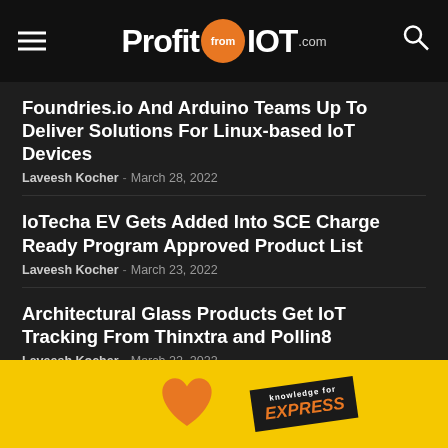ProfitfromIOT.com
Foundries.io And Arduino Teams Up To Deliver Solutions For Linux-based IoT Devices
Laveesh Kocher - March 28, 2022
IoTecha EV Gets Added Into SCE Charge Ready Program Approved Product List
Laveesh Kocher - March 23, 2022
Architectural Glass Products Get IoT Tracking From Thinxtra and Pollin8
Laveesh Kocher - March 22, 2022
Reportlinker Releases 5G Services Global Market Report 2022
[Figure (photo): Yellow advertisement banner with orange heart and Express delivery badge]